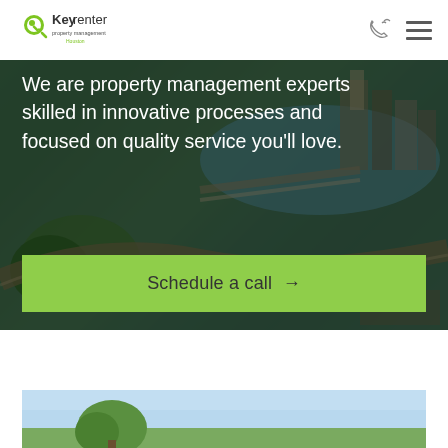[Figure (logo): Keyrenter property management Houston logo with green magnifying glass icon]
We are property management experts skilled in innovative processes and focused on quality service you'll love.
[Figure (photo): Aerial view of city with river, bridge, trees, and highway]
Schedule a call →
Related Posts
[Figure (photo): Outdoor scene with trees and blue sky]